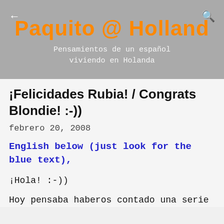Paquito @ Holland
Pensamientos de un español viviendo en Holanda
¡Felicidades Rubia! / Congrats Blondie! :-))
febrero 20, 2008
English below (just look for the blue text),
¡Hola! :-))
Hoy pensaba haberos contado una serie